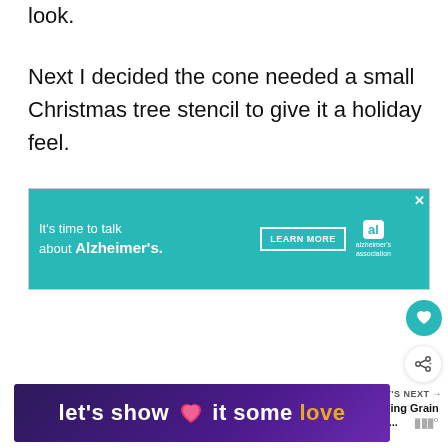look.
Next I decided the cone needed a small Christmas tree stencil to give it a holiday feel.
[Figure (screenshot): Advertisement for Alzheimer's Association: teal background with text 'It's time to talk about Alzheimer's.' and a 'LEARN MORE' button, with the Alzheimer's Association logo and a close button.]
[Figure (screenshot): Heart/like button (teal circle with white heart icon) and share button (white circle with share icon), floating on the right side.]
[Figure (screenshot): What's Next promo showing a thumbnail image and text 'Hanging Grain Sack...']
[Figure (screenshot): Bottom advertisement banner with purple gradient background and white/gold text: 'let's show it some love' with a pink heart icon]